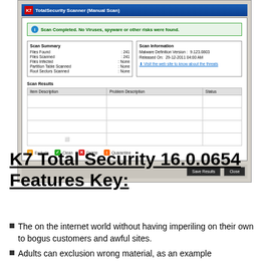[Figure (screenshot): K7 TotalSecurity Scanner (Manual Scan) dialog showing scan completed with no viruses found. Scan Summary: Files Found 241, Files Scanned 241, Files Infected None, Partition Table Scanned None, Root Sectors Scanned None. Scan Information: Malware Definition Version 9.123.0803, Released On 29-12-2011 04:00 AM. Scan Results table with Item Description, Problem Description, Status columns (empty). Buttons: Exclude, Clean, Delete, Quarantine, Save Results, Close.]
K7 Total Security 16.0.0654 Features Key:
The on the internet world without having imperiling on their own to bogus customers and awful sites.
Adults can exclusion wrong material, as an example